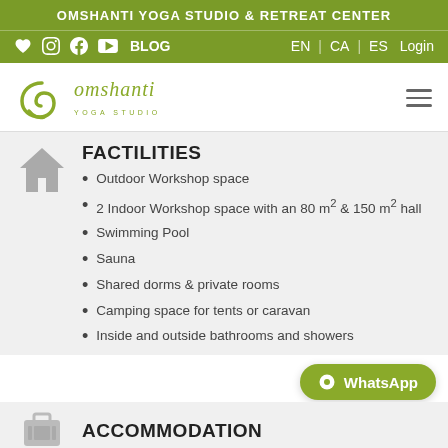OMSHANTI YOGA STUDIO & RETREAT CENTER
♥  Instagram  f  YouTube  BLOG  EN | CA | ES  Login
[Figure (logo): OmShanti Yoga Studio logo with green spiral and text]
FACTILITIES
Outdoor Workshop space
2 Indoor Workshop space with an 80 m² & 150 m² hall
Swimming Pool
Sauna
Shared dorms & private rooms
Camping space for tents or caravan
Inside and outside bathrooms and showers
ACCOMMODATION